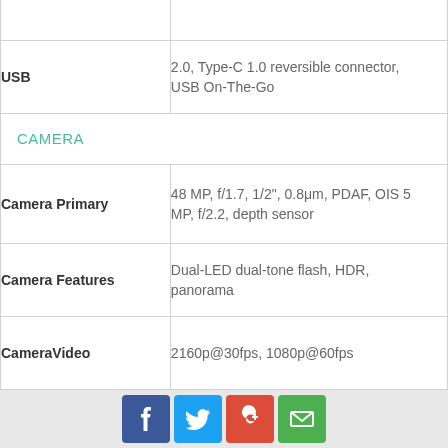| Feature | Value |
| --- | --- |
| USB | 2.0, Type-C 1.0 reversible connector, USB On-The-Go |
| CAMERA |  |
| Camera Primary | 48 MP, f/1.7, 1/2", 0.8μm, PDAF, OIS 5 MP, f/2.2, depth sensor |
| Camera Features | Dual-LED dual-tone flash, HDR, panorama |
| CameraVideo | 2160p@30fps, 1080p@60fps |
| Camera Secondary | 32 MP, f/2.0, 1080p, 30fps |
Social share buttons: Facebook, Twitter, Google+, Email